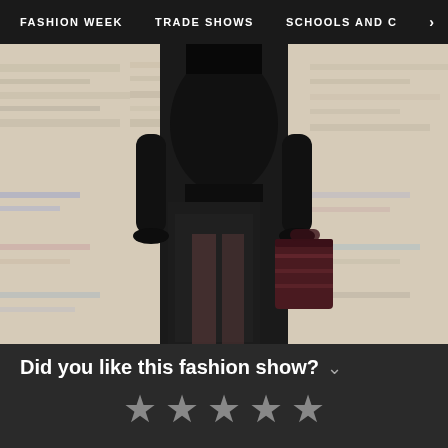FASHION WEEK   TRADE SHOWS   SCHOOLS AND C   >
[Figure (photo): A model in a black outfit with lace skirt and dark red handbag walks on a runway covered with newspaper pages.]
Did you like this fashion show? ˅
★ ★ ★ ★ ★